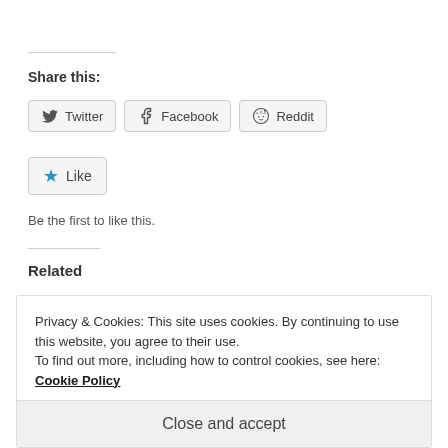Share this:
Twitter
Facebook
Reddit
Like
Be the first to like this.
Related
Review: Star Trek: Tactical Assault (PSP & NDS)
An open letter to Games Publishers
Privacy & Cookies: This site uses cookies. By continuing to use this website, you agree to their use.
To find out more, including how to control cookies, see here: Cookie Policy
Close and accept